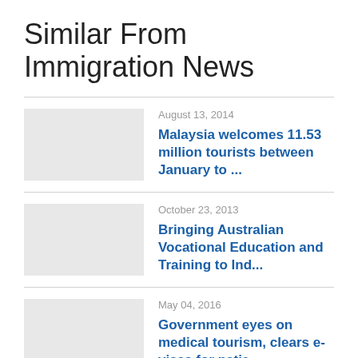Similar From Immigration News
August 13, 2014 — Malaysia welcomes 11.53 million tourists between January to ...
October 23, 2013 — Bringing Australian Vocational Education and Training to Ind...
May 04, 2016 — Government eyes on medical tourism, clears e-visas for patie...
November 06, 2015 — Business groups has urged